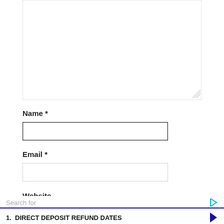[Figure (screenshot): A textarea form input box with resize handle at bottom right]
Name *
[Figure (screenshot): A text input field for Name (focused/active with thick border)]
Email *
[Figure (screenshot): A text input field for Email]
Website
[Figure (screenshot): A text input field for Website]
Search for
1. DIRECT DEPOSIT REFUND DATES
2. TAX RELIEFS FOR SENIORS
Yahoo! Search | Sponsored